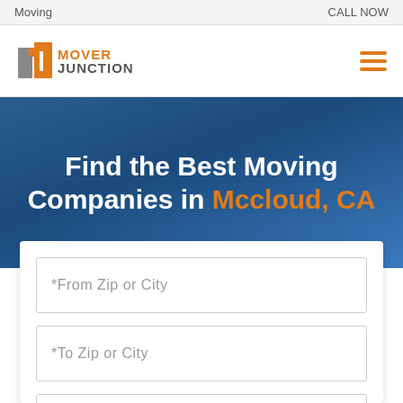Moving   CALL NOW
[Figure (logo): Mover Junction logo with stylized number 1 icon and orange/gray text]
Find the Best Moving Companies in Mccloud, CA
*From Zip or City
*To Zip or City